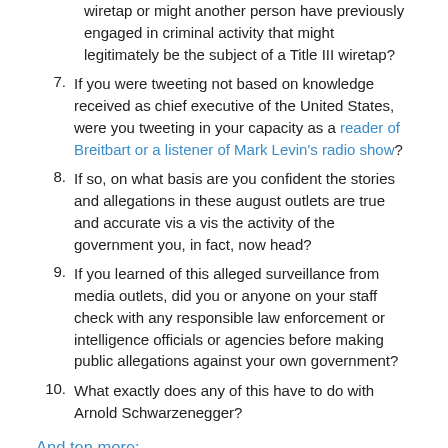wiretap or might another person have previously engaged in criminal activity that might legitimately be the subject of a Title III wiretap?
7. If you were tweeting not based on knowledge received as chief executive of the United States, were you tweeting in your capacity as a reader of Breitbart or a listener of Mark Levin's radio show?
8. If so, on what basis are you confident the stories and allegations in these august outlets are true and accurate vis a vis the activity of the government you, in fact, now head?
9. If you learned of this alleged surveillance from media outlets, did you or anyone on your staff check with any responsible law enforcement or intelligence officials or agencies before making public allegations against your own government?
10. What exactly does any of this have to do with Arnold Schwarzenegger?
And ten more:
Continue reading...